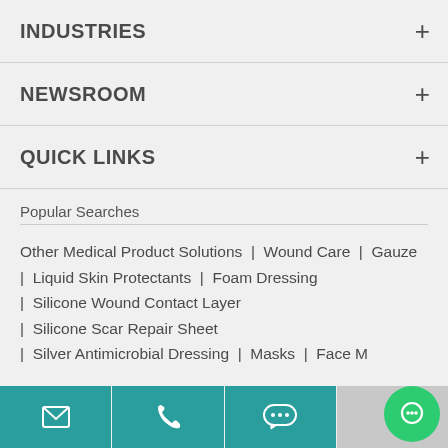INDUSTRIES
NEWSROOM
QUICK LINKS
Popular Searches
Other Medical Product Solutions | Wound Care | Gauze | Liquid Skin Protectants | Foam Dressing | Silicone Wound Contact Layer | Silicone Scar Repair Sheet | Silver Antimicrobial Dressing | Masks | Face M…